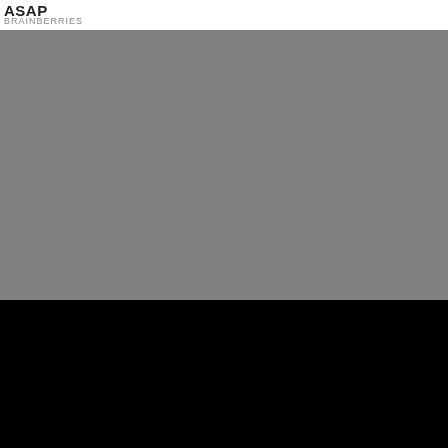ASAP
BRAINBERRIES
[Figure (photo): Large gray rectangular image placeholder area]
JSV
[Figure (other): Black area with pagination dots at bottom center]